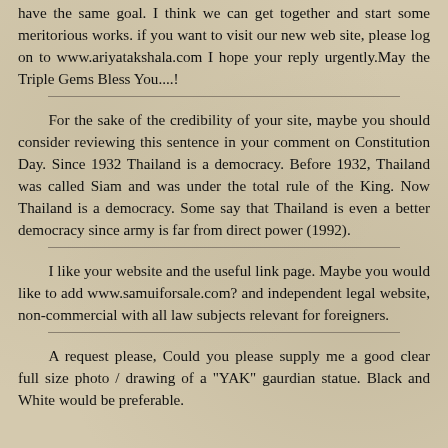have the same goal. I think we can get together and start some meritorious works. if you want to visit our new web site, please log on to www.ariyatakshala.com I hope your reply urgently.May the Triple Gems Bless You....!
For the sake of the credibility of your site, maybe you should consider reviewing this sentence in your comment on Constitution Day. Since 1932 Thailand is a democracy. Before 1932, Thailand was called Siam and was under the total rule of the King. Now Thailand is a democracy. Some say that Thailand is even a better democracy since army is far from direct power (1992).
I like your website and the useful link page. Maybe you would like to add www.samuiforsale.com? and independent legal website, non-commercial with all law subjects relevant for foreigners.
A request please, Could you please supply me a good clear full size photo / drawing of a "YAK" gaurdian statue. Black and White would be preferable.